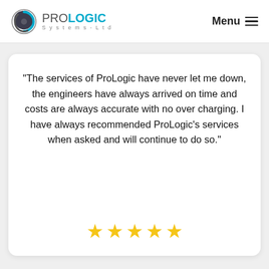ProLogic Systems-Ltd | Menu
"The services of ProLogic have never let me down, the engineers have always arrived on time and costs are always accurate with no over charging. I have always recommended ProLogic's services when asked and will continue to do so."
[Figure (other): Five gold/yellow star rating icons]